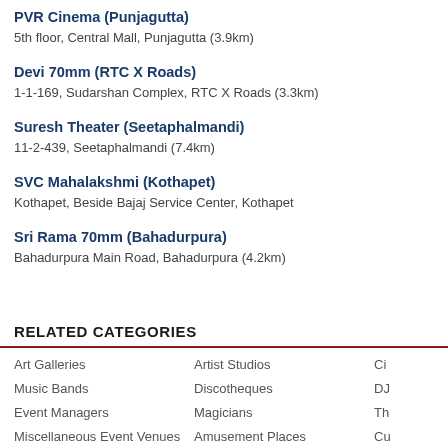PVR Cinema (Punjagutta)
5th floor, Central Mall, Punjagutta (3.9km)
Devi 70mm (RTC X Roads)
1-1-169, Sudarshan Complex, RTC X Roads (3.3km)
Suresh Theater (Seetaphalmandi)
11-2-439, Seetaphalmandi (7.4km)
SVC Mahalakshmi (Kothapet)
Kothapet, Beside Bajaj Service Center, Kothapet
Sri Rama 70mm (Bahadurpura)
Bahadurpura Main Road, Bahadurpura (4.2km)
RELATED CATEGORIES
Art Galleries  Artist Studios  Ci
Music Bands  Discotheques  DJ
Event Managers  Magicians  Th
Miscellaneous Event Venues  Amusement Places  Cu